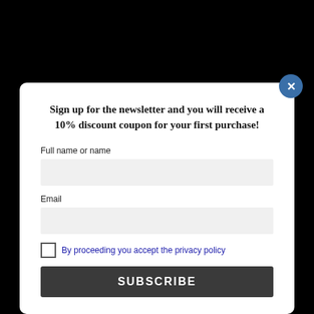mixer.
At this point add the crushed amaretti
Sign up for the newsletter and you will receive a 10% discount coupon for your first purchase!
Full name or name
Email
By proceeding you accept the privacy policy
SUBSCRIBE